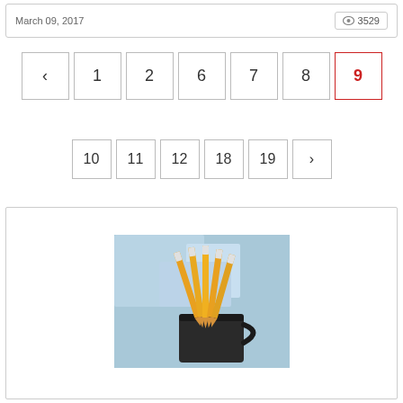March 09, 2017
👁 3529
< 1 2 6 7 8 9
10 11 12 18 19 >
[Figure (photo): A dark mug/cup holding several yellow pencils, photographed against a blue blurred background]